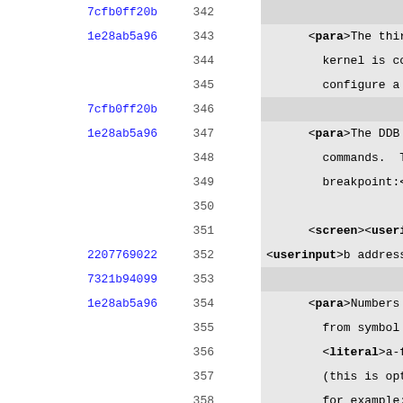Code viewer showing XML/DocBook source lines 342-371 with git hashes and line numbers. Lines include para, screen, userinput, literal, and note elements with content about DDB kernel debugging commands (breakpoints, continue, stack trace).